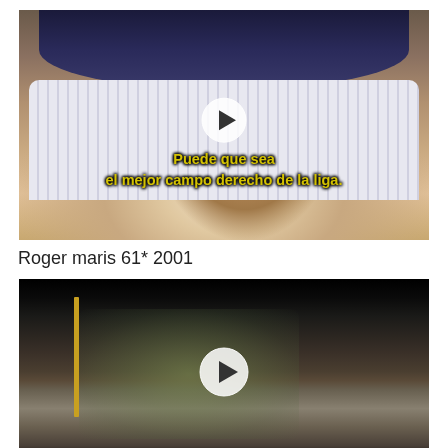[Figure (screenshot): Video thumbnail showing a baseball player in New York Yankees uniform with Spanish subtitle text 'Puede que sea el mejor campo derecho de la liga.' and a play button overlay]
Roger maris 61* 2001
[Figure (screenshot): Dark video thumbnail showing a TV screen or monitor in a dimly lit room with a play button overlay]